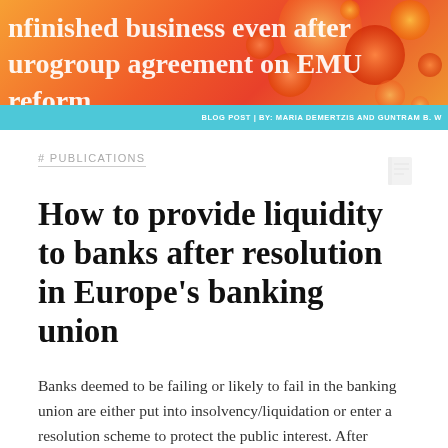[Figure (illustration): Orange and red gradient banner with decorative bubbles and partial white text reading 'unfinished business even after Eurogroup agreement on EMU reform']
BLOG POST | BY: MARIA DEMERTZIS AND GUNTRAM B. W
# PUBLICATIONS
How to provide liquidity to banks after resolution in Europe's banking union
Banks deemed to be failing or likely to fail in the banking union are either put into insolvency/liquidation or enter a resolution scheme to protect the public interest. After resolution but before full market confidence…